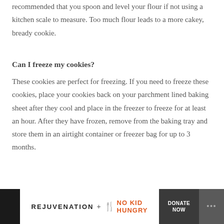recommended that you spoon and level your flour if not using a kitchen scale to measure. Too much flour leads to a more cakey, bready cookie.
Can I freeze my cookies?
These cookies are perfect for freezing. If you need to freeze these cookies, place your cookies back on your parchment lined baking sheet after they cool and place in the freezer to freeze for at least an hour. After they have frozen, remove from the baking tray and store them in an airtight container or freezer bag for up to 3 months.
Can I leave the walnuts out?
[Figure (other): Advertisement banner showing Rejuvenation + No Kid Hungry partnership with a Donate Now button and a logo icon on dark background.]